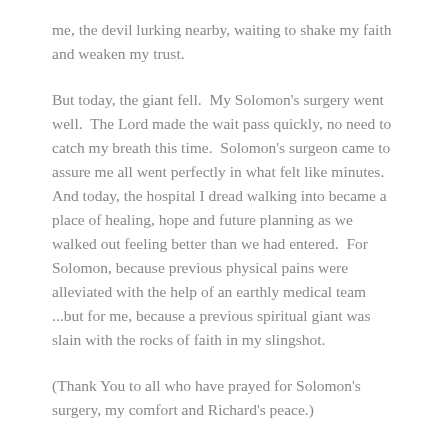me, the devil lurking nearby, waiting to shake my faith and weaken my trust.
But today, the giant fell.  My Solomon's surgery went well.  The Lord made the wait pass quickly, no need to catch my breath this time.  Solomon's surgeon came to assure me all went perfectly in what felt like minutes.  And today, the hospital I dread walking into became a place of healing, hope and future planning as we walked out feeling better than we had entered.  For Solomon, because previous physical pains were alleviated with the help of an earthly medical team ...but for me, because a previous spiritual giant was slain with the rocks of faith in my slingshot.
(Thank You to all who have prayed for Solomon's surgery, my comfort and Richard's peace.)